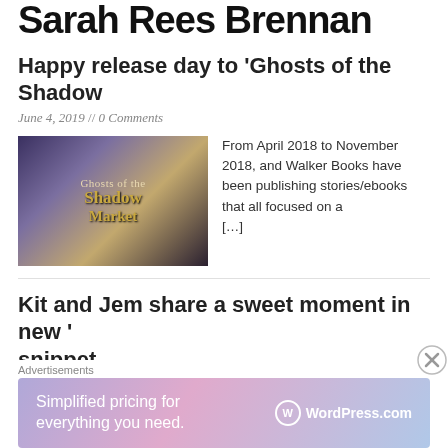Sarah Rees Brennan
Happy release day to ‘Ghosts of the Shadow’
June 4, 2019 // 0 Comments
[Figure (photo): Book cover for 'Ghosts of the Shadow Market' showing a fantasy scene with golden text on a dark purple/gold background]
From April 2018 to November 2018, and Walker Books have been publishing stories/ebooks that all focused on a [...]
Kit and Jem share a sweet moment in new ‘ snippet
January 30, 2019 // 2 Comments
Advertisements
[Figure (screenshot): WordPress.com advertisement banner: Simplified pricing for everything you need.]